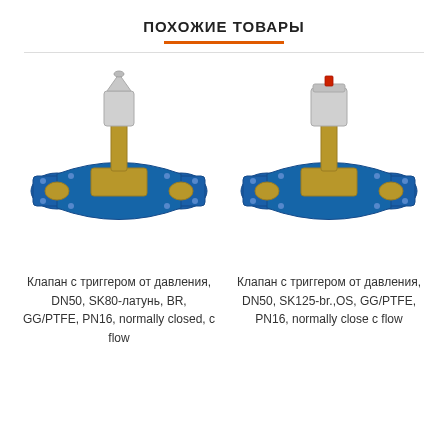ПОХОЖИЕ ТОВАРЫ
[Figure (illustration): Pressure trigger valve DN50, SK80-brass, blue flanged body with silver actuator on top]
Клапан с триггером от давления, DN50, SK80-латунь, BR, GG/PTFE, PN16, normally closed, с flow
[Figure (illustration): Pressure trigger valve DN50, SK125-br., OS, blue flanged body with silver actuator and red indicator on top]
Клапан с триггером от давления, DN50, SK125-br.,OS, GG/PTFE, PN16, normally close с flow